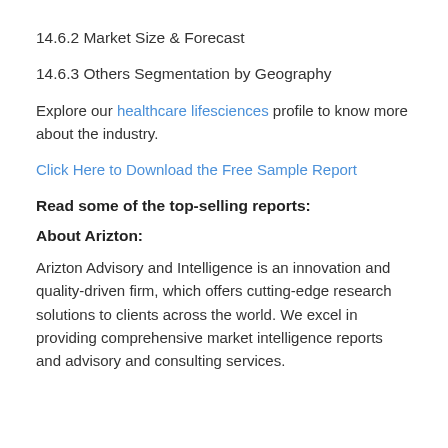14.6.2 Market Size & Forecast
14.6.3 Others Segmentation by Geography
Explore our healthcare lifesciences profile to know more about the industry.
Click Here to Download the Free Sample Report
Read some of the top-selling reports:
About Arizton:
Arizton Advisory and Intelligence is an innovation and quality-driven firm, which offers cutting-edge research solutions to clients across the world. We excel in providing comprehensive market intelligence reports and advisory and consulting services.